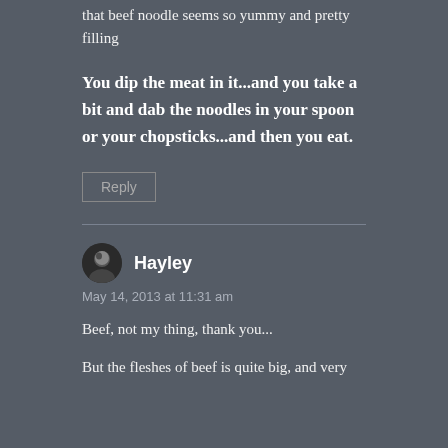that beef noodle seems so yummy and pretty filling
You dip the meat in it...and you take a bit and dab the noodles in your spoon or your chopsticks...and then you eat.
Reply
Hayley
May 14, 2013 at 11:31 am
Beef, not my thing, thank you...
But the fleshes of beef is quite big, and very